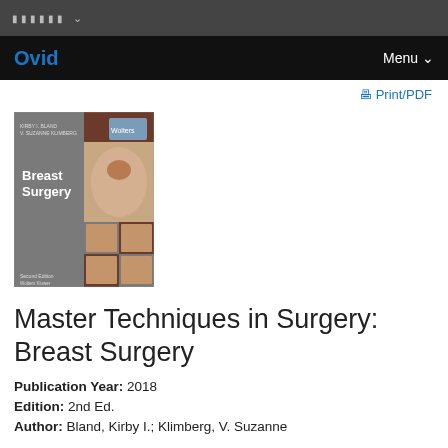Ovid   Menu
[Figure (photo): Book cover of Master Techniques in Surgery: Breast Surgery, 2nd edition, showing the title on a brown and gray cover with medical images]
Master Techniques in Surgery: Breast Surgery
Publication Year: 2018
Edition: 2nd Ed.
Author: Bland, Kirby I.; Klimberg, V. Suzanne